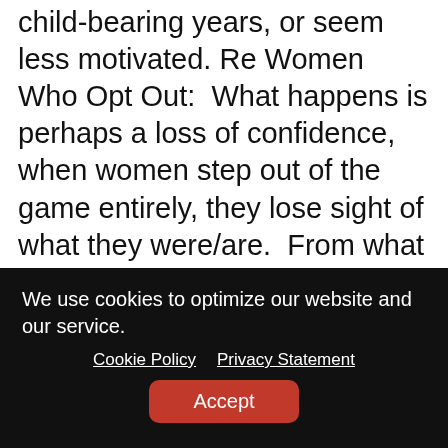child-bearing years, or seem less motivated. Re Women Who Opt Out:  What happens is perhaps a loss of confidence, when women step out of the game entirely, they lose sight of what they were/are.  From what I've seen of otherwise smart powerful women who drop out, they're SCARED to try to get back in...even if it means trying to be taken seriously by home contractors. Also don't forget, the world treats opted out women badly:  my sister used to play game at fancy DC parties, when asked what she did, she'd answer,
We use cookies to optimize our website and our service.
Cookie Policy   Privacy Statement
Accept